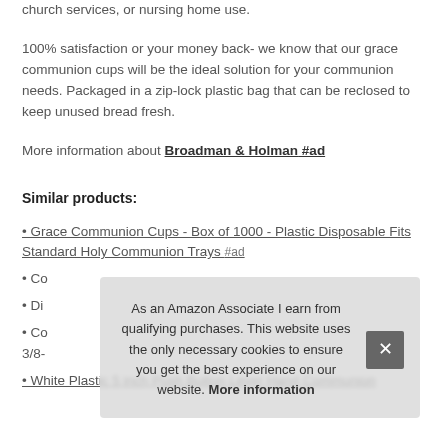church services, or nursing home use.
100% satisfaction or your money back- we know that our grace communion cups will be the ideal solution for your communion needs. Packaged in a zip-lock plastic bag that can be reclosed to keep unused bread fresh.
More information about Broadman & Holman #ad
Similar products:
• Grace Communion Cups - Box of 1000 - Plastic Disposable Fits Standard Holy Communion Trays #ad
• Co
• Di
• Co 3/8-
• White Plastic 5 inch Push Button Lever Hand Communion
As an Amazon Associate I earn from qualifying purchases. This website uses the only necessary cookies to ensure you get the best experience on our website. More information